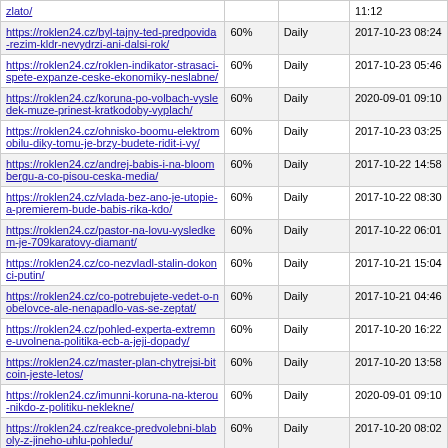| URL | Priority | Change Frequency | Last Modified |
| --- | --- | --- | --- |
| https://roklen24.cz/byl-tajny-ted-predpovida-rezim-kldr-nevydrzi-ani-dalsi-rok/ | 60% | Daily | 2017-10-23 08:24 |
| https://roklen24.cz/roklen-indikator-strasaci-spete-expanze-ceske-ekonomiky-neslabne/ | 60% | Daily | 2017-10-23 05:46 |
| https://roklen24.cz/koruna-po-volbach-vysledek-muze-prinest-kratkodoby-vyplach/ | 60% | Daily | 2020-09-01 09:10 |
| https://roklen24.cz/ohnisko-boomu-elektromobilu-diky-tomu-je-brzy-budete-ridit-i-vy/ | 60% | Daily | 2017-10-23 03:25 |
| https://roklen24.cz/andrej-babis-i-na-bloombergu-a-co-pisou-ceska-media/ | 60% | Daily | 2017-10-22 14:58 |
| https://roklen24.cz/vlada-bez-ano-je-utopie-a-premierem-bude-babis-rika-kdo/ | 60% | Daily | 2017-10-22 08:30 |
| https://roklen24.cz/pastor-na-lovu-vysledkem-je-709karatovy-diamant/ | 60% | Daily | 2017-10-22 06:01 |
| https://roklen24.cz/co-nezvladl-stalin-dokonci-putin/ | 60% | Daily | 2017-10-21 15:04 |
| https://roklen24.cz/co-potrebujete-vedet-o-nobelovce-ale-nenapadlo-vas-se-zeptat/ | 60% | Daily | 2017-10-21 04:46 |
| https://roklen24.cz/pohled-experta-extremne-uvolnena-politika-ecb-a-jeji-dopady/ | 60% | Daily | 2017-10-20 16:22 |
| https://roklen24.cz/master-plan-chytrejsi-bitcoin-jeste-letos/ | 60% | Daily | 2017-10-20 13:58 |
| https://roklen24.cz/imunni-koruna-na-kterou-nikdo-z-politiku-neklekne/ | 60% | Daily | 2020-09-01 09:10 |
| https://roklen24.cz/reakce-predvolebni-blaboly-z-jineho-uhlu-pohledu/ | 60% | Daily | 2017-10-20 08:02 |
| https://roklen24.cz/nejvetsi-medved-v-... | 60% | Daily | 2017-10-20 |